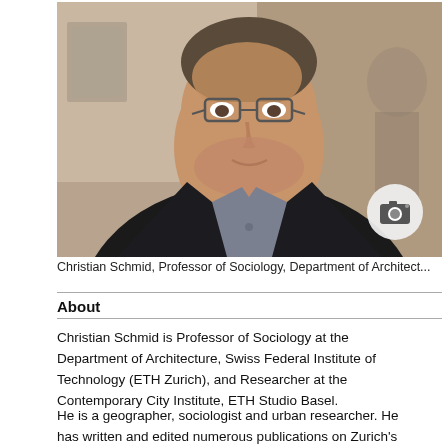[Figure (photo): Portrait photo of Christian Schmid, a middle-aged man with glasses wearing a dark blazer and grey shirt, standing in what appears to be an indoor event space. A camera icon badge is overlaid in the lower-right corner of the image.]
Christian Schmid, Professor of Sociology, Department of Architect...
About
Christian Schmid is Professor of Sociology at the Department of Architecture, Swiss Federal Institute of Technology (ETH Zurich), and Researcher at the Contemporary City Institute, ETH Studio Basel.
He is a geographer, sociologist and urban researcher. He has written and edited numerous publications on Zurich’s urban development, on urban and regional planning in international comparison, and on theories of the city and